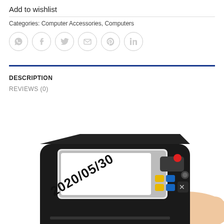Add to wishlist
Categories: Computer Accessories, Computers
[Figure (illustration): Row of six circular social media/share icons: WhatsApp, Facebook, Twitter, Email, Pinterest, LinkedIn]
DESCRIPTION
REVIEWS (0)
[Figure (photo): A hand holding a black handheld inkjet printer device with a screen showing the date 2020/05/30 printed on a white label, with colorful function buttons visible on the device.]